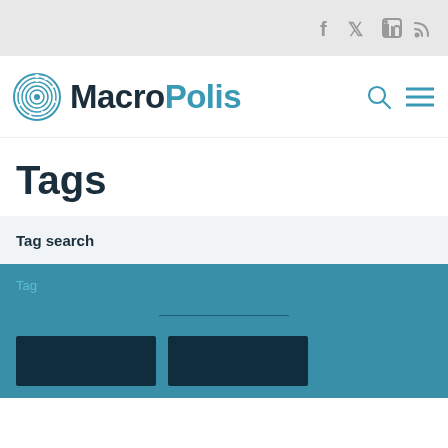f  in
[Figure (logo): MacroPolis website logo with circular maze icon and text MacroPolis]
Tags
Tag search
Tag (search form input area with buttons)